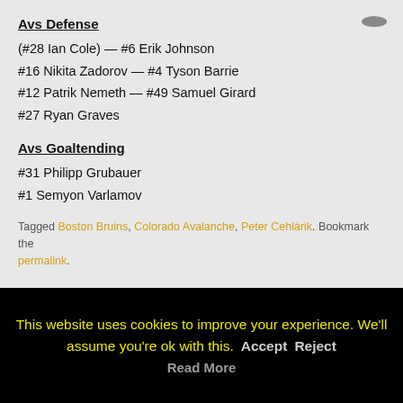Avs Defense
(#28 Ian Cole) — #6 Erik Johnson
#16 Nikita Zadorov — #4 Tyson Barrie
#12 Patrik Nemeth — #49 Samuel Girard
#27 Ryan Graves
Avs Goaltending
#31 Philipp Grubauer
#1 Semyon Varlamov
Tagged Boston Bruins, Colorado Avalanche, Peter Cehlárik. Bookmark the permalink.
This website uses cookies to improve your experience. We'll assume you're ok with this. Accept Reject Read More